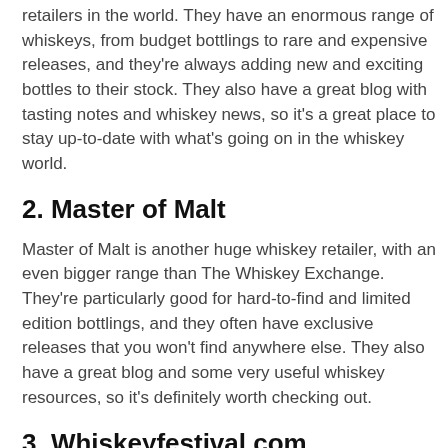retailers in the world. They have an enormous range of whiskeys, from budget bottlings to rare and expensive releases, and they're always adding new and exciting bottles to their stock. They also have a great blog with tasting notes and whiskey news, so it's a great place to stay up-to-date with what's going on in the whiskey world.
2. Master of Malt
Master of Malt is another huge whiskey retailer, with an even bigger range than The Whiskey Exchange. They're particularly good for hard-to-find and limited edition bottlings, and they often have exclusive releases that you won't find anywhere else. They also have a great blog and some very useful whiskey resources, so it's definitely worth checking out.
3. Whiskeyfestival.com
whiskeyfestival.com is a relatively new site, but they're already making a big splash in the whiskey world. They specialise in whiskey festivals, which are events where you can try a whole bunch of different whiskeys and talk to the people who make them. They also